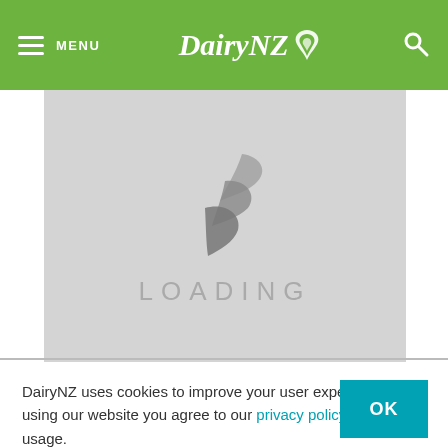MENU  DairyNZ  [search]
[Figure (screenshot): Gray loading screen with DairyNZ leaf logo watermark and 'LOADING' text in light gray]
DairyNZ uses cookies to improve your user experience. By using our website you agree to our privacy policy and cookie usage.
OK